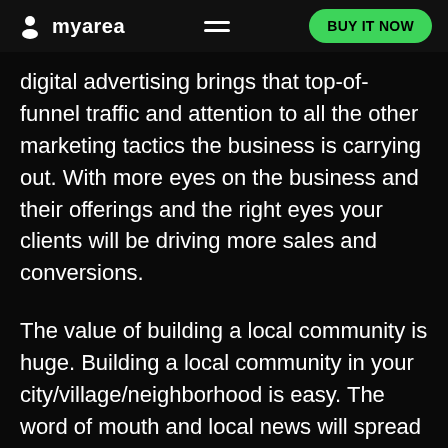myarea | BUY IT NOW
digital advertising brings that top-of-funnel traffic and attention to all the other marketing tactics the business is carrying out. With more eyes on the business and their offerings and the right eyes your clients will be driving more sales and conversions.
The value of building a local community is huge. Building a local community in your city/village/neighborhood is easy. The word of mouth and local news will spread fast and your website will instantly become well known. You'll get the chance to write your own local news